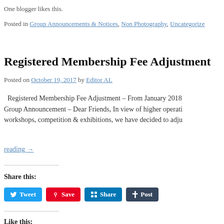One blogger likes this.
Posted in Group Announcements & Notices, Non Photography, Uncategorize
Registered Membership Fee Adjustment
Posted on October 19, 2017 by Editor AL
Registered Membership Fee Adjustment – From January 2018 Group Announcement – Dear Friends, In view of higher operati workshops, competition & exhibitions, we have decided to adju
reading →
Share this:
[Figure (other): Social sharing buttons: Tweet (Twitter/blue), Save (Pinterest/red), Share (LinkedIn/blue), Post (Tumblr/dark)]
Like this:
Loading...